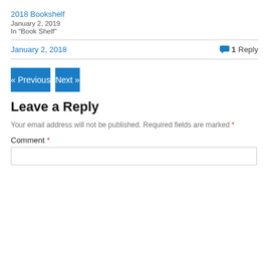2018 Bookshelf
January 2, 2019
In "Book Shelf"
January 2, 2018
1 Reply
« Previous
Next »
Leave a Reply
Your email address will not be published. Required fields are marked *
Comment *